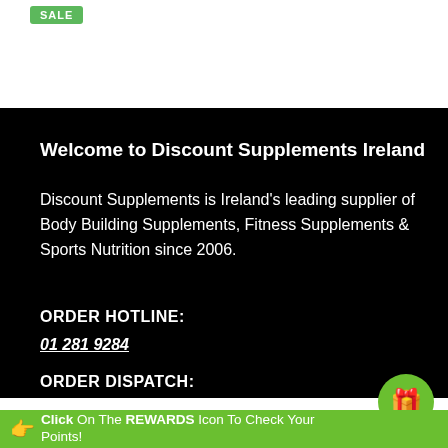[Figure (other): Green SALE badge/button in top-left corner of white section]
Welcome to Discount Supplements Ireland
Discount Supplements is Ireland's leading supplier of Body Building Supplements, Fitness Supplements & Sports Nutrition since 2006.
ORDER HOTLINE:
01 281 9284
ORDER DISPATCH:
3PM MONDAY - FRIDAY
Click On The REWARDS Icon To Check Your Points!